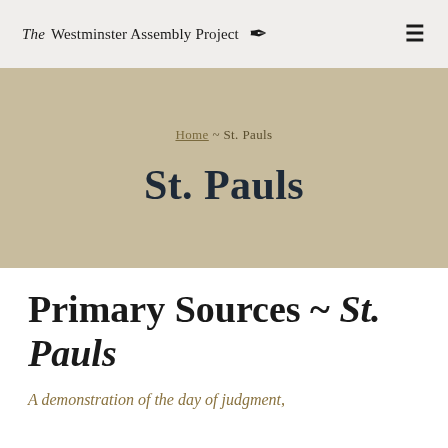The Westminster Assembly Project [quill icon]
Home ~ St. Pauls
St. Pauls
Primary Sources ~ St. Pauls
A demonstration of the day of judgment,